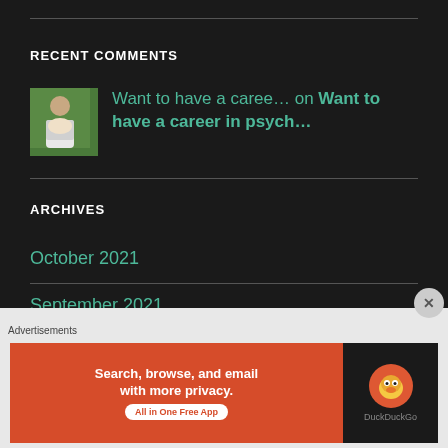RECENT COMMENTS
Want to have a caree… on Want to have a career in psych…
ARCHIVES
October 2021
September 2021
June 2021
[Figure (other): DuckDuckGo advertisement banner: Search, browse, and email with more privacy. All in One Free App]
Advertisements